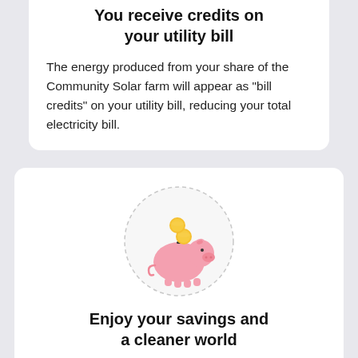You receive credits on your utility bill
The energy produced from your share of the Community Solar farm will appear as "bill credits" on your utility bill, reducing your total electricity bill.
[Figure (illustration): Piggy bank with coins falling into it, surrounded by a dashed circle, on a light gray background card]
Enjoy your savings and a cleaner world
The difference between what you pay for your Community Solar subscription and the value of the bill credits on your utility bill may result in savings – and a better, cleaner world